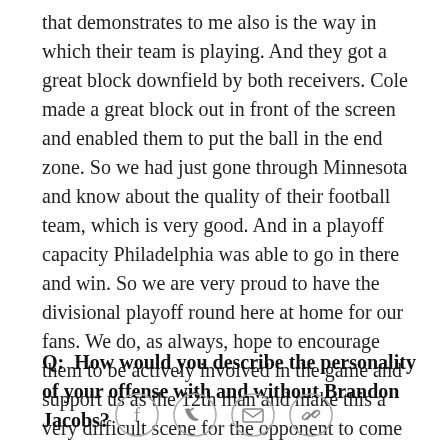that demonstrates to me also is the way in which their team is playing. And they got a great block downfield by both receivers. Cole made a great block out in front of the screen and enabled them to put the ball in the end zone. So we had just gone through Minnesota and know about the quality of their football team, which is very good. And in a playoff capacity Philadelphia was able to go in there and win. So we are very proud to have the divisional playoff round here at home for our fans. We do, as always, hope to encourage them to be actively involved in the game and support us as the 12th man and make this a very difficult scene for the opponent to come into and play.
Q:  How would you describe the personality of your offense with and without Brandon Jacobs?
[Figure (other): Social sharing icons: Facebook, Twitter, Email, Link]